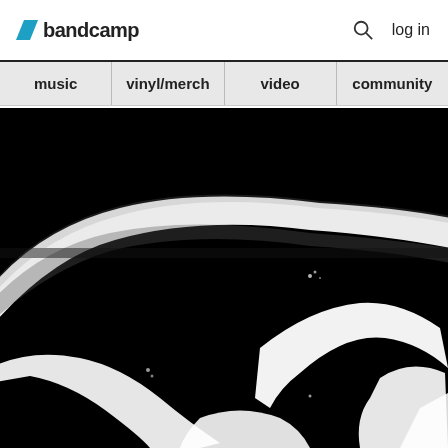bandcamp  log in
music
vinyl/merch
video
community
[Figure (photo): High-contrast black and white abstract image showing halftone-printed shapes resembling brush strokes or curved forms against a black background, printed in a dithered dot pattern.]